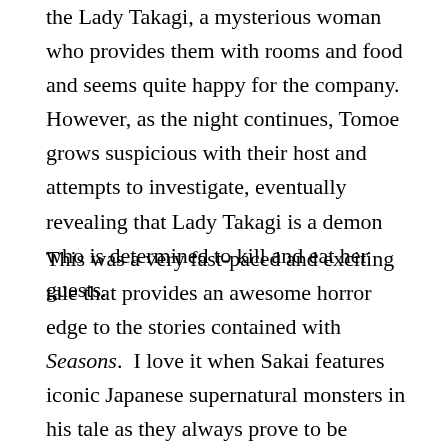the Lady Takagi, a mysterious woman who provides them with rooms and food and seems quite happy for the company.  However, as the night continues, Tomoe grows suspicious with their host and attempts to investigate, eventually revealing that Lady Takagi is a demon who is determined to kill and eat her guests.
This was a very fast-paced and exciting tale that provides an awesome horror edge to the stories contained with Seasons.  I love it when Sakai features iconic Japanese supernatural monsters in his tale as they always prove to be outstanding and fearsome opponents for the protagonists.  The monster featured within The Obakeneko of the Geishu Clan is no exception, and I loved the freaky tale based around her and the desperate